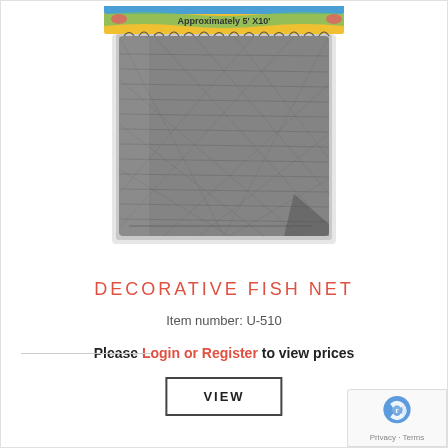[Figure (photo): A decorative fish net product packaged in plastic, shown folded into a rectangular bundle. The package has a colorful header card reading 'Approximately 5' X10''. The net is dark gray/charcoal colored mesh.]
DECORATIVE FISH NET
Item number: U-510
Please Login or Register to view prices
VIEW